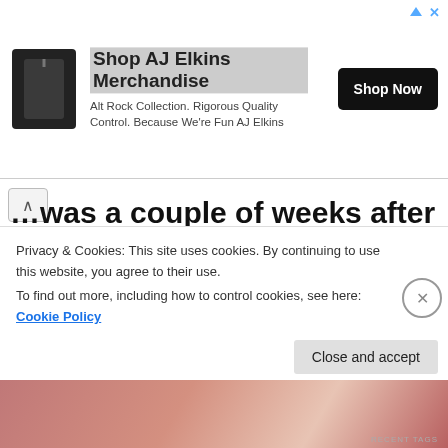[Figure (other): Advertisement banner for AJ Elkins Merchandise showing a dark candle/product image, headline 'Shop AJ Elkins Merchandise', subtext 'Alt Rock Collection. Rigorous Quality Control. Because We're Fun AJ Elkins', and a 'Shop Now' button]
...was a couple of weeks after Bon's death, and they just put a few feelers out to see what would happen. And I went down, had a sing with the lads, and it worked out allright.
I thought Back in Black was a pretty good
Privacy & Cookies: This site uses cookies. By continuing to use this website, you agree to their use.
To find out more, including how to control cookies, see here: Cookie Policy
Close and accept